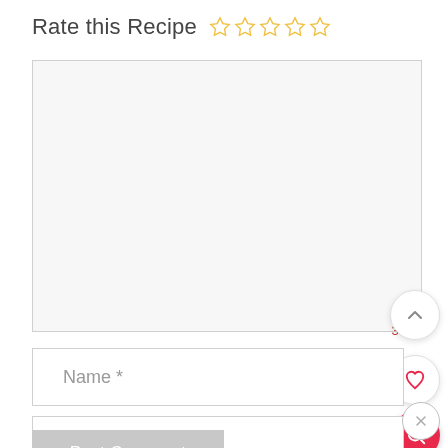Rate this Recipe ☆☆☆☆☆
[Figure (screenshot): Empty textarea / comment input box with light gray background and border]
37
Name *
Email *
Post Comment